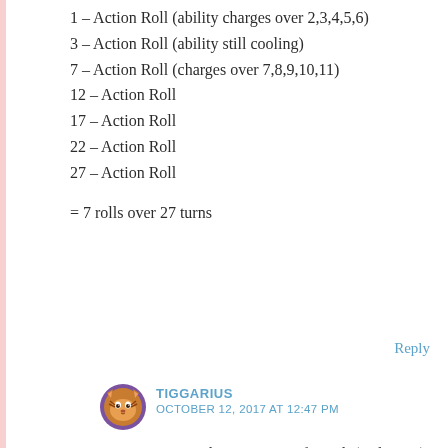1 – Action Roll (ability charges over 2,3,4,5,6)
3 – Action Roll (ability still cooling)
7 – Action Roll (charges over 7,8,9,10,11)
12 – Action Roll
17 – Action Roll
22 – Action Roll
27 – Action Roll
= 7 rolls over 27 turns
Reply
TIGGARIUS
OCTOBER 12, 2017 AT 12:47 PM
For comparison, here's Dance of Death (3 charges):
1 — Roll (ability cools over 2,3,4,5)
3 — Roll (ability still cooling)